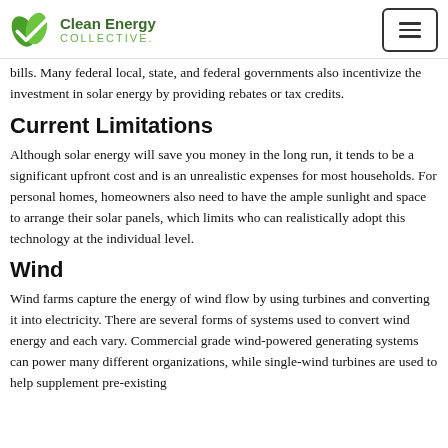Clean Energy Collective
bills. Many federal local, state, and federal governments also incentivize the investment in solar energy by providing rebates or tax credits.
Current Limitations
Although solar energy will save you money in the long run, it tends to be a significant upfront cost and is an unrealistic expenses for most households. For personal homes, homeowners also need to have the ample sunlight and space to arrange their solar panels, which limits who can realistically adopt this technology at the individual level.
Wind
Wind farms capture the energy of wind flow by using turbines and converting it into electricity. There are several forms of systems used to convert wind energy and each vary. Commercial grade wind-powered generating systems can power many different organizations, while single-wind turbines are used to help supplement pre-existing